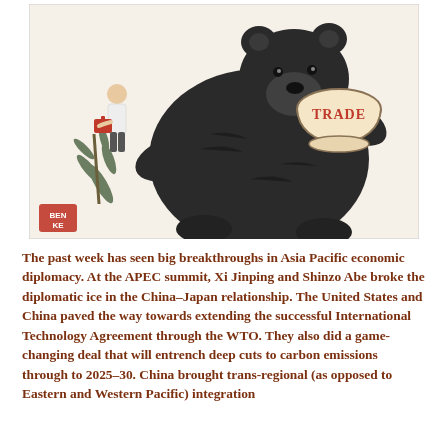[Figure (illustration): A political cartoon illustration by BEN KE showing a large black bear sitting and holding a bowl labeled 'TRADE'. A small figure stands to the left of the bear holding a red bag, with a pine branch visible.]
The past week has seen big breakthroughs in Asia Pacific economic diplomacy. At the APEC summit, Xi Jinping and Shinzo Abe broke the diplomatic ice in the China–Japan relationship. The United States and China paved the way towards extending the successful International Technology Agreement through the WTO. They also did a game-changing deal that will entrench deep cuts to carbon emissions through to 2025–30. China brought trans-regional (as opposed to Eastern and Western Pacific) integration